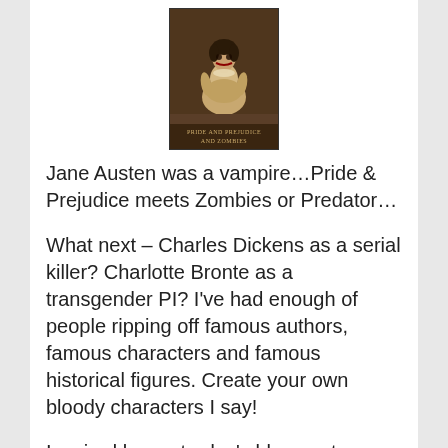[Figure (illustration): Book cover of 'Pride and Prejudice and Zombies' showing a woman in period dress with a zombie-like face, dark brown background, title text at bottom]
Jane Austen was a vampire…Pride & Prejudice meets Zombies or Predator…
What next – Charles Dickens as a serial killer? Charlotte Bronte as a transgender PI? I've had enough of people ripping off famous authors, famous characters and famous historical figures. Create your own bloody characters I say!
Inspired by yesterday's blog post on creating powerful characters that jump off the page I